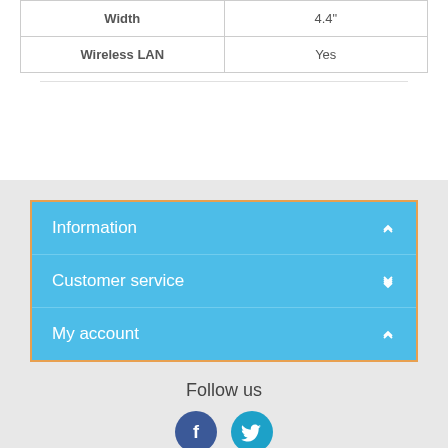|  |  |
| --- | --- |
| Width | 4.4" |
| Wireless LAN | Yes |
Information
Customer service
My account
Follow us